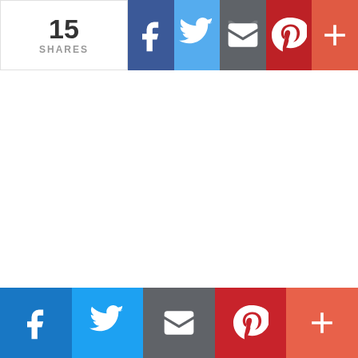[Figure (infographic): Social share bar at top showing 15 SHARES count, with Facebook (dark blue), Twitter (light blue), Email (gray), Pinterest (dark red), and More (+) (orange-red) icon buttons]
[Figure (infographic): Social share bar at bottom with Facebook (blue), Twitter (light blue), Email (gray), Pinterest (red), and More (+) (orange-red) icon buttons]